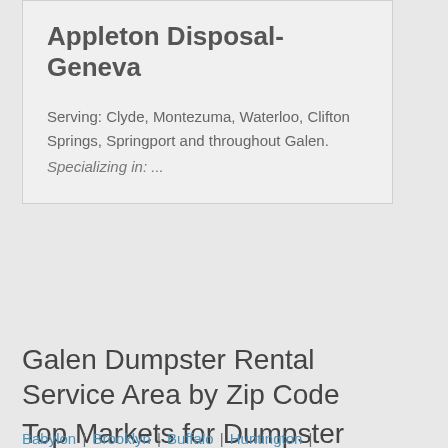Appleton Disposal-Geneva
Serving: Clyde, Montezuma, Waterloo, Clifton Springs, Springport and throughout Galen.
Specializing in: ...
Galen Dumpster Rental Service Area by Zip Code
Top Markets for Dumpster Rental in New York
Babylon | Brooklyn | Buffalo | Huntington |